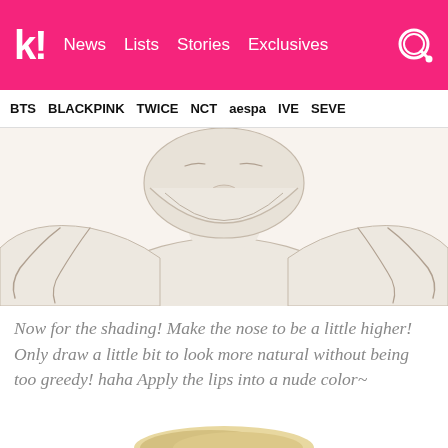k! News Lists Stories Exclusives
BTS BLACKPINK TWICE NCT aespa IVE SEVE
[Figure (illustration): Line art illustration of a face/head from chin to forehead area, showing shading sketch of nose and lips area, with shoulders and arms visible on either side. Drawn in a Korean webtoon/manga style with light beige skin tones and fine pencil-like outlines.]
Now for the shading! Make the nose to be a little higher! Only draw a little bit to look more natural without being too greedy! haha Apply the lips into a nude color~
[Figure (illustration): Partial view of the top of a blonde-haired character's head at the bottom of the page.]